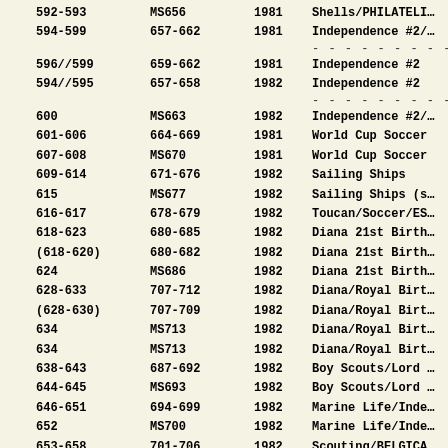| Scott | SG | Year | Description |
| --- | --- | --- | --- |
| 592-593 | MS656 | 1981 | Shells/PHILATELI... |
| 594-599 | 657-662 | 1981 | Independence #2/... |
|  |  |  | ............... |
| 596//599 | 659-662 | 1981 | Independence #2 |
| 594//595 | 657-658 | 1982 | Independence #2 |
|  |  |  | ............... |
| 600 | MS663 | 1982 | Independence #2/... |
| 601-606 | 664-669 | 1981 | World Cup Soccer |
| 607-608 | MS670 | 1981 | World Cup Soccer |
| 609-614 | 671-676 | 1982 | Sailing Ships |
| 615 | MS677 | 1982 | Sailing Ships (s... |
| 616-617 | 678-679 | 1982 | Toucan/Soccer/ES... |
| 618-623 | 680-685 | 1982 | Diana 21st Birth... |
| (618-620) | 680-682 | 1982 | Diana 21st Birth... |
| 624 | MS686 | 1982 | Diana 21st Birth... |
| 628-633 | 707-712 | 1982 | Diana/Royal Birt... |
| (628-630) | 707-709 | 1982 | Diana/Royal Birt... |
| 634 | MS713 | 1982 | Diana/Royal Birt... |
| 634 | MS713 | 1982 | Diana/Royal Birt... |
| 638-643 | 687-692 | 1982 | Boy Scouts/Lord ... |
| 644-645 | MS693 | 1982 | Boy Scouts/Lord ... |
| 646-651 | 694-699 | 1982 | Marine Life/Inde... |
| 652 | MS700 | 1982 | Marine Life/Inde... |
| 653-658 | 701-706 | 1982 | Scouting/BELGICA... |